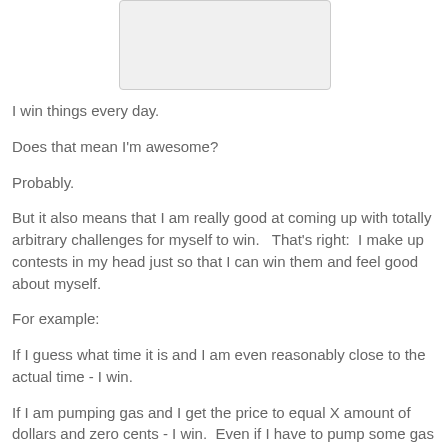[Figure (other): A light gray rectangular placeholder image at the top center of the page]
I win things every day.
Does that mean I'm awesome?
Probably.
But it also means that I am really good at coming up with totally arbitrary challenges for myself to win.   That's right:  I make up contests in my head just so that I can win them and feel good about myself.
For example:
If I guess what time it is and I am even reasonably close to the actual time - I win.
If I am pumping gas and I get the price to equal X amount of dollars and zero cents - I win.  Even if I have to pump some gas on the ground to do it.